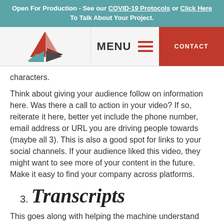Open For Production - See our COVID-19 Protocols or Click Here To Talk About Your Project.
[Figure (logo): Company logo with red and teal geometric arrow shapes]
characters.
Think about giving your audience follow on information here. Was there a call to action in your video? If so, reiterate it here, better yet include the phone number, email address or URL you are driving people towards (maybe all 3). This is also a good spot for links to your social channels. If your audience liked this video, they might want to see more of your content in the future. Make it easy to find your company across platforms.
3. Transcripts
This goes along with helping the machine understand your content. A transcript is an easy way to make the